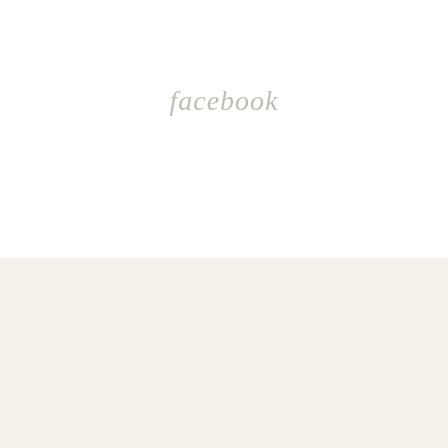facebook
about us
[Figure (illustration): Cartoon illustration of a woman in a dark dress with glasses]
Hey, I'm Carli and my blog, nomadicchick is all about living the full life!
I love to review hotels, restaurants, places I visit, and